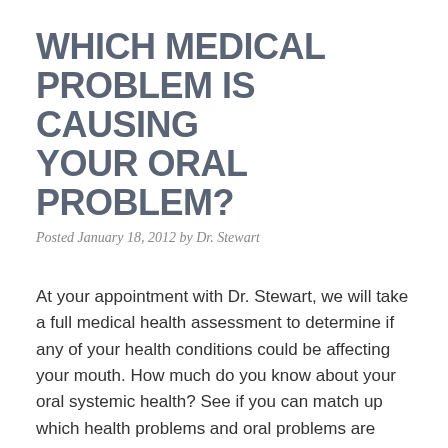WHICH MEDICAL PROBLEM IS CAUSING YOUR ORAL PROBLEM?
Posted January 18, 2012 by Dr. Stewart
At your appointment with Dr. Stewart, we will take a full medical health assessment to determine if any of your health conditions could be affecting your mouth. How much do you know about your oral systemic health? See if you can match up which health problems and oral problems are related. Health Problem:               Dental Symptom:… Read more »